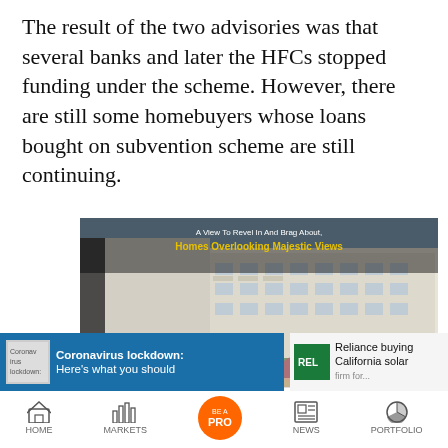The result of the two advisories was that several banks and later the HFCs stopped funding under the scheme. However, there are still some homebuyers whose loans bought on subvention scheme are still continuing.
[Figure (photo): Real estate advertisement showing a luxury apartment complex with balconies and lush greenery. Text overlay reads 'A View To Revel In And Brag About, Homes Overlooking Majestic Views'. Bottom bar shows 'Anaika at' with BHK pricing info. Small 'Artist's Impression' label in bottom left corner of photo.]
[Figure (screenshot): Mobile app news ticker showing two items: 1) 'Coronavirus lockdown: Here's what you should...' on blue background with thumbnail. 2) 'Reliance buying California solar...' on light background with green logo thumbnail.]
[Figure (screenshot): Mobile app bottom navigation bar showing icons for HOME, MARKETS, BE A PRO (orange circle), NEWS, and PORTFOLIO.]